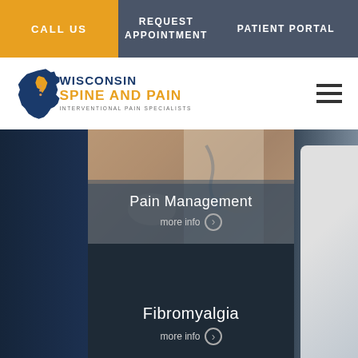CALL US | REQUEST APPOINTMENT | PATIENT PORTAL
[Figure (logo): Wisconsin Spine and Pain Interventional Pain Specialists logo with Wisconsin state shape in blue and gold]
[Figure (photo): Pain Management: photo of medical professional with stethoscope, text overlay 'Pain Management' and 'more info' button]
[Figure (photo): Fibromyalgia: dark background panel with text 'Fibromyalgia' and 'more info' button]